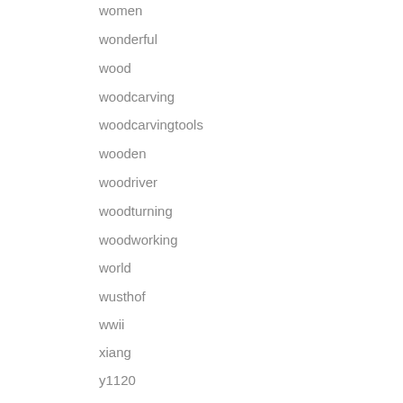women
wonderful
wood
woodcarving
woodcarvingtools
wooden
woodriver
woodturning
woodworking
world
wusthof
wwii
xiang
y1120
yantra
yeti